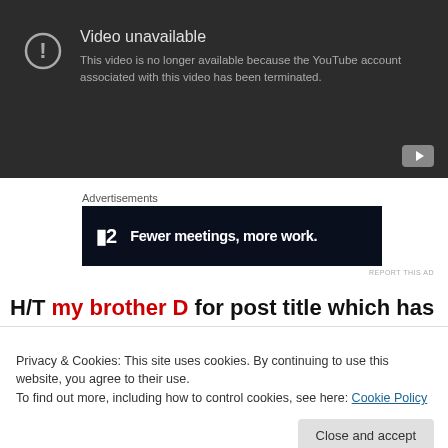[Figure (screenshot): YouTube video unavailable error screen showing a circle with exclamation mark icon, title 'Video unavailable', and message 'This video is no longer available because the YouTube account associated with this video has been terminated.' Dark grey background with YouTube logo button in bottom right.]
Advertisements
[Figure (screenshot): Advertisement banner with dark navy background. Left side shows 'F2' logo. Right side shows tagline: 'Fewer meetings, more work.']
REPORT THIS AD
H/T my brother D for post title which has such genius
Privacy & Cookies: This site uses cookies. By continuing to use this website, you agree to their use.
To find out more, including how to control cookies, see here: Cookie Policy
Close and accept
remarks.